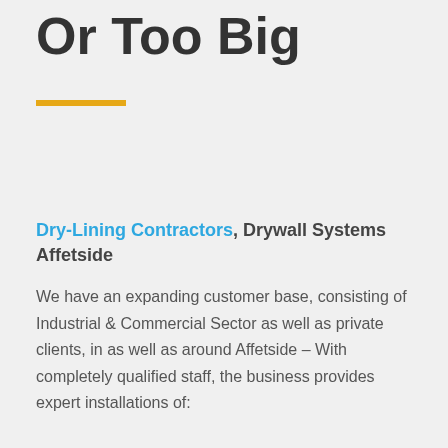Or Too Big
Dry-Lining Contractors, Drywall Systems Affetside
We have an expanding customer base, consisting of Industrial & Commercial Sector as well as private clients, in as well as around Affetside – With completely qualified staff, the business provides expert installations of: